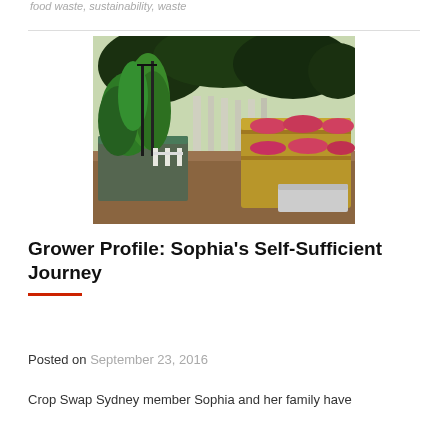food waste, sustainability, waste
[Figure (photo): Outdoor vegetable garden with raised metal beds filled with green climbing plants on the left and wooden raised planter boxes with red/pink plants on the right, set in a mulched area with trees in the background.]
Grower Profile: Sophia's Self-Sufficient Journey
Posted on September 23, 2016
Crop Swap Sydney member Sophia and her family have